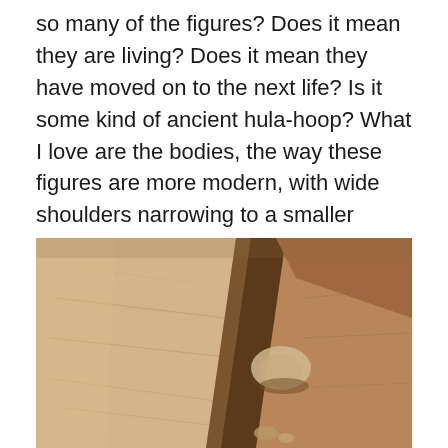so many of the figures? Does it mean they are living? Does it mean they have moved on to the next life? Is it some kind of ancient hula-hoop? What I love are the bodies, the way these figures are more modern, with wide shoulders narrowing to a smaller waist.
[Figure (photo): Close-up photograph of sandstone rock formations, showing layered sandy-colored rock surfaces with shadows and crevices between the rocks.]